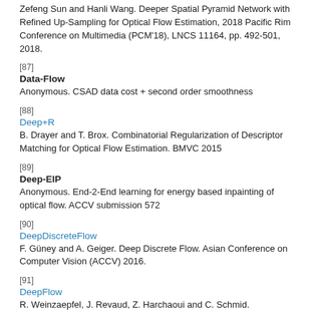Zefeng Sun and Hanli Wang. Deeper Spatial Pyramid Network with Refined Up-Sampling for Optical Flow Estimation, 2018 Pacific Rim Conference on Multimedia (PCM'18), LNCS 11164, pp. 492-501, 2018.
[87]
Data-Flow
Anonymous. CSAD data cost + second order smoothness
[88]
Deep+R
B. Drayer and T. Brox. Combinatorial Regularization of Descriptor Matching for Optical Flow Estimation. BMVC 2015
[89]
Deep-EIP
Anonymous. End-2-End learning for energy based inpainting of optical flow. ACCV submission 572
[90]
DeepDiscreteFlow
F. Güney and A. Geiger. Deep Discrete Flow. Asian Conference on Computer Vision (ACCV) 2016.
[91]
DeepFlow
R. Weinzaepfel, J. Revaud, Z. Harchaoui and C. Schmid. DeepFlow: